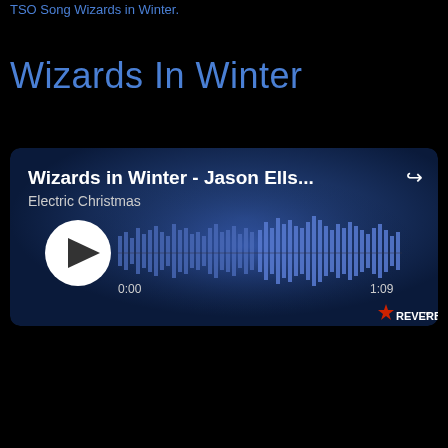TSO Song Wizards in Winter.
Wizards In Winter
[Figure (screenshot): ReverbNation audio player widget showing 'Wizards in Winter - Jason Ells...' from album 'Electric Christmas', with waveform visualization, play button, time markers 0:00 and 1:09, and ReverbNation branding.]